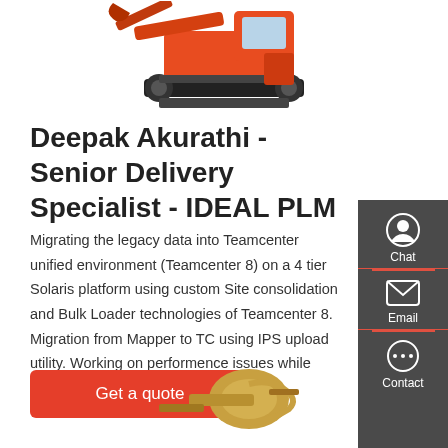[Figure (photo): Orange crawler excavator machine, top portion visible against white background]
Deepak Akurathi - Senior Delivery Specialist - IDEAL PLM
Migrating the legacy data into Teamcenter unified environment (Teamcenter 8) on a 4 tier Solaris platform using custom Site consolidation and Bulk Loader technologies of Teamcenter 8. Migration from Mapper to TC using IPS upload utility. Working on performence issues while creating Variant Items in TC8.3.0.2 and TC8.3.3.2.
[Figure (illustration): Sidebar with Chat, Email, and Contact icons on dark grey background]
Get a quote
[Figure (photo): Industrial mechanical equipment or attachment, partially visible at bottom of page]